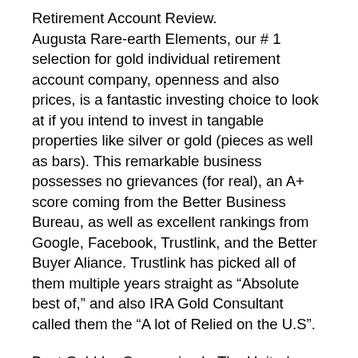Retirement Account Review. Augusta Rare-earth Elements, our # 1 selection for gold individual retirement account company, openness and also prices, is a fantastic investing choice to look at if you intend to invest in tangable properties like silver or gold (pieces as well as bars). This remarkable business possesses no grievances (for real), an A+ score coming from the Better Business Bureau, as well as excellent rankings from Google, Facebook, Trustlink, and the Better Buyer Aliance. Trustlink has picked all of them multiple years straight as “Absolute best of,” and also IRA Gold Consultant called them the “A lot of Relied on the U.S”.
Best Gold Ira Companies In The United